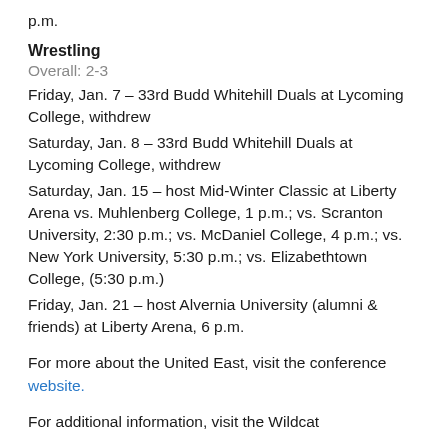p.m.
Wrestling
Overall: 2-3
Friday, Jan. 7 – 33rd Budd Whitehill Duals at Lycoming College, withdrew
Saturday, Jan. 8 – 33rd Budd Whitehill Duals at Lycoming College, withdrew
Saturday, Jan. 15 – host Mid-Winter Classic at Liberty Arena vs. Muhlenberg College, 1 p.m.; vs. Scranton University, 2:30 p.m.; vs. McDaniel College, 4 p.m.; vs. New York University, 5:30 p.m.; vs. Elizabethtown College, (5:30 p.m.)
Friday, Jan. 21 – host Alvernia University (alumni & friends) at Liberty Arena, 6 p.m.
For more about the United East, visit the conference website.
For additional information, visit the Wildcat